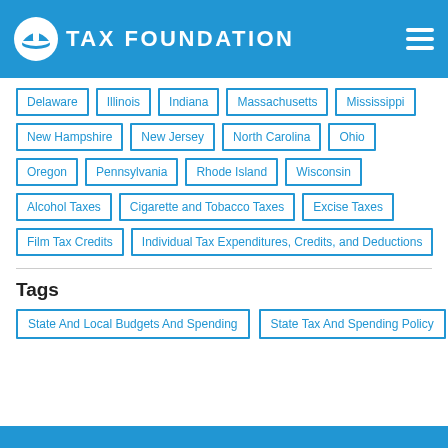TAX FOUNDATION
Delaware
Illinois
Indiana
Massachusetts
Mississippi
New Hampshire
New Jersey
North Carolina
Ohio
Oregon
Pennsylvania
Rhode Island
Wisconsin
Alcohol Taxes
Cigarette and Tobacco Taxes
Excise Taxes
Film Tax Credits
Individual Tax Expenditures, Credits, and Deductions
Tags
State And Local Budgets And Spending
State Tax And Spending Policy